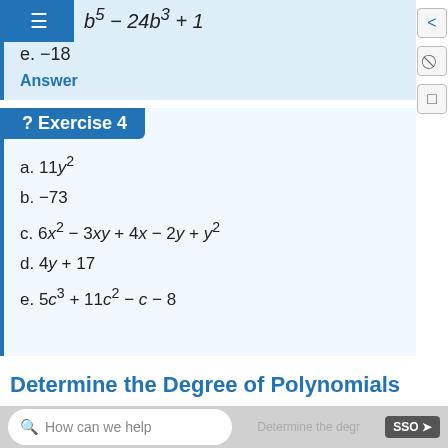e. −18
Answer
? Exercise 4
a. 11y²
b. −73
c. 6x² − 3xy + 4x − 2y + y²
d. 4y + 17
e. 5c³ + 11c² − c − 8
Determine the Degree of Polynomials
How can we help